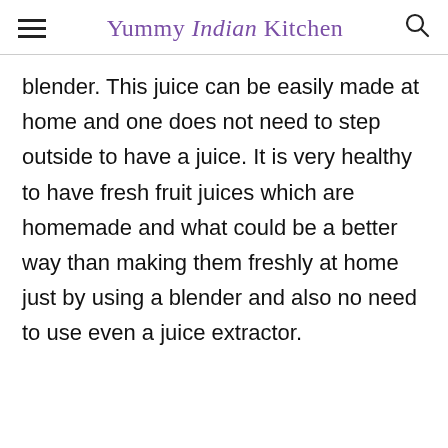Yummy Indian Kitchen
blender. This juice can be easily made at home and one does not need to step outside to have a juice. It is very healthy to have fresh fruit juices which are homemade and what could be a better way than making them freshly at home just by using a blender and also no need to use even a juice extractor.